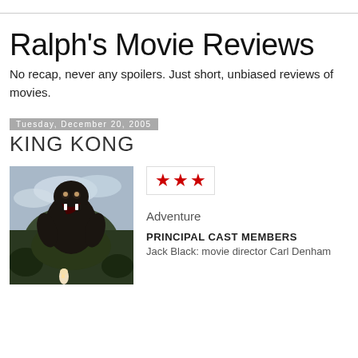Ralph's Movie Reviews
No recap, never any spoilers. Just short, unbiased reviews of movies.
Tuesday, December 20, 2005 — KING KONG
[Figure (photo): King Kong movie poster showing a giant gorilla roaring on a rocky landscape with a small female figure in foreground]
★★★
Adventure
PRINCIPAL CAST MEMBERS
Jack Black: movie director Carl Denham